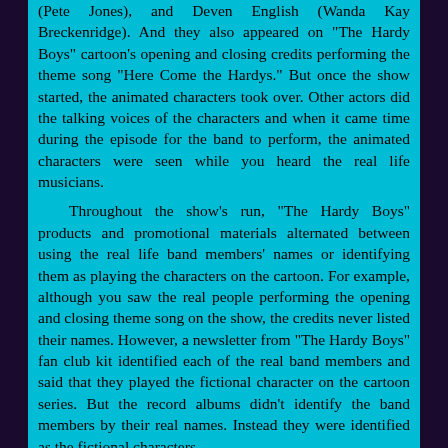(Pete Jones), and Deven English (Wanda Kay Breckenridge). And they also appeared on "The Hardy Boys" cartoon's opening and closing credits performing the theme song "Here Come the Hardys." But once the show started, the animated characters took over. Other actors did the talking voices of the characters and when it came time during the episode for the band to perform, the animated characters were seen while you heard the real life musicians.

Throughout the show's run, "The Hardy Boys" products and promotional materials alternated between using the real life band members' names or identifying them as playing the characters on the cartoon. For example, although you saw the real people performing the opening and closing theme song on the show, the credits never listed their names. However, a newsletter from "The Hardy Boys" fan club kit identified each of the real band members and said that they played the fictional character on the cartoon series. But the record albums didn't identify the band members by their real names. Instead they were identified as the fictional characters.

According to an article in the March 1970 issue of "Golden Magazine, a children's magazine during the 1960s and 1970s, these musicians were chosen for the Hardy Boys band through auditions.

The cartoon characters, Frank and Joe Hardy, Chubby Morton, Pete Jones and Wanda Kay Breckenridge, come to life each week as Reed Kailing, Jeff Taylor, Nibs Soltysiak, Bob Crowder and Deven English open and close the show with the theme song, 'Here Come The Hardys.'